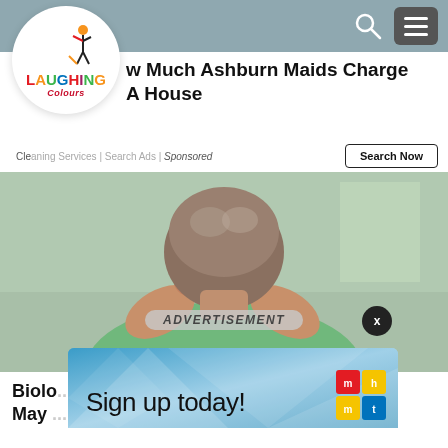[Figure (screenshot): Website navigation bar with search icon and hamburger menu on grey-blue background]
[Figure (logo): Laughing Colours logo in white circle with colorful text]
w Much Ashburn Maids Charge A House
Cleaning Services | Search Ads | Sponsored
Search Now
[Figure (photo): Elderly person scratching back of neck with both hands, wearing green floral blouse, blurred indoor background]
ADVERTISEMENT
[Figure (screenshot): Blue geometric advertisement banner with text 'Sign up today!' and Mahota logo]
Biolo... ome May...